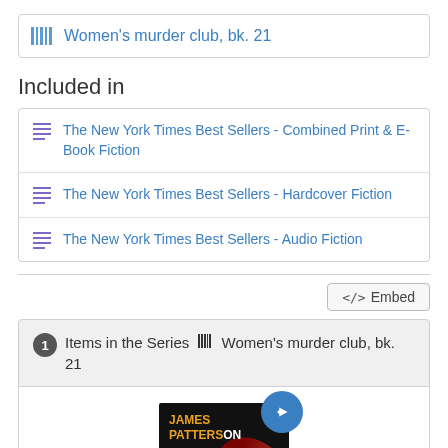Women's murder club, bk. 21
Included in
The New York Times Best Sellers - Combined Print & E-Book Fiction
The New York Times Best Sellers - Hardcover Fiction
The New York Times Best Sellers - Audio Fiction
Embed
1 Items in the Series Women's murder club, bk. 21
[Figure (illustration): Book cover for James Patterson's 21st Women's Murder Club novel showing '21' in large white text with a red ribbon on black background and audio badge]